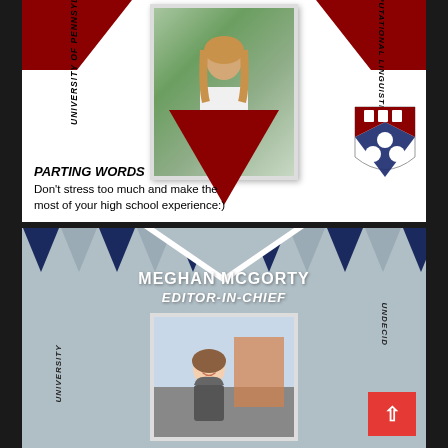[Figure (photo): Student profile card for University of Pennsylvania, Computational Linguistics. Photo of a young woman with long hair wearing white, outdoors with greenery. Dark red triangles at top corners and a downward-pointing dark red triangle in center. Penn shield logo at bottom right.]
PARTING WORDS
Don't stress too much and make the most of your high school experience:)
[Figure (photo): Student profile card for Meghan McGorty, Editor-in-Chief. Photo of young woman smiling outdoors with buildings in background. Navy and grey bunting/triangle decorations at top. Rotated text reads UNIVERSITY on left and UNDECID on right.]
MEGHAN MCGORTY
EDITOR-IN-CHIEF